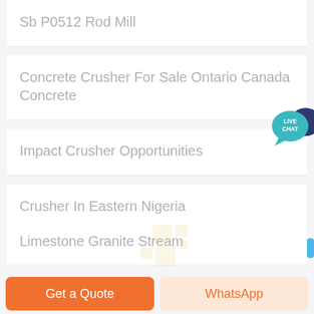Sb P0512 Rod Mill
Concrete Crusher For Sale Ontario Canada Concrete
[Figure (other): Live Chat speech bubble icon in teal/dark blue]
Impact Crusher Opportunities
Crusher In Eastern Nigeria
[Figure (logo): Watermark logo in faded yellow/gold tiles pattern]
Limestone Granite Stream
Get a Quote | WhatsApp